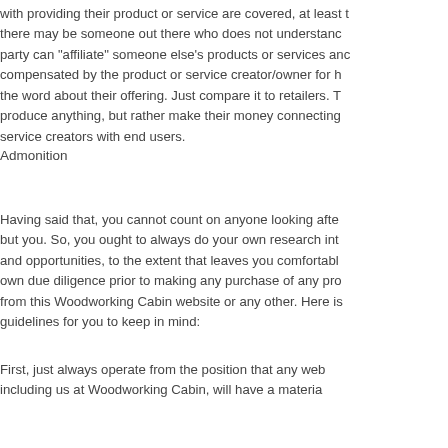with providing their product or service are covered, at least there may be someone out there who does not understand party can "affiliate" someone else's products or services and compensated by the product or service creator/owner for h the word about their offering. Just compare it to retailers. T produce anything, but rather make their money connecting service creators with end users.
Admonition
Having said that, you cannot count on anyone looking afte but you. So, you ought to always do your own research int and opportunities, to the extent that leaves you comfortabl own due diligence prior to making any purchase of any pro from this Woodworking Cabin website or any other. Here is guidelines for you to keep in mind:
First, just always operate from the position that any web including us at Woodworking Cabin, will have a materia